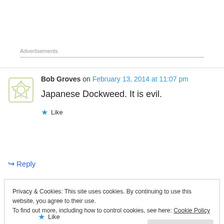Advertisements
Bob Groves on February 13, 2014 at 11:07 pm
Japanese Dockweed. It is evil.
Like
Reply
Privacy & Cookies: This site uses cookies. By continuing to use this website, you agree to their use.
To find out more, including how to control cookies, see here: Cookie Policy
Close and accept
Like